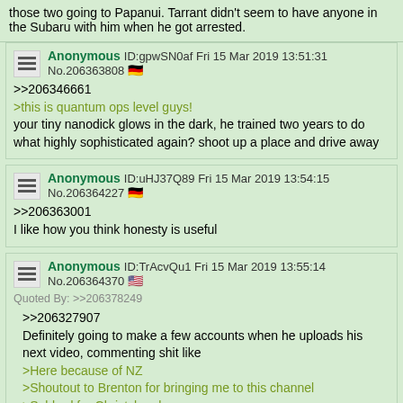those two going to Papanui. Tarrant didn't seem to have anyone in the Subaru with him when he got arrested.
Anonymous ID:gpwSN0af Fri 15 Mar 2019 13:51:31 No.206363808 [DE flag]
>>206346661
>this is quantum ops level guys!
your tiny nanodick glows in the dark, he trained two years to do what highly sophisticated again? shoot up a place and drive away
Anonymous ID:uHJ37Q89 Fri 15 Mar 2019 13:54:15 No.206364227 [DE flag]
>>206363001
I like how you think honesty is useful
Anonymous ID:TrAcvQu1 Fri 15 Mar 2019 13:55:14 No.206364370 [US flag]
Quoted By: >>206378249
>>206327907
Definitely going to make a few accounts when he uploads his next video, commenting shit like
>Here because of NZ
>Shoutout to Brenton for bringing me to this channel
>Subbed for Christchurch